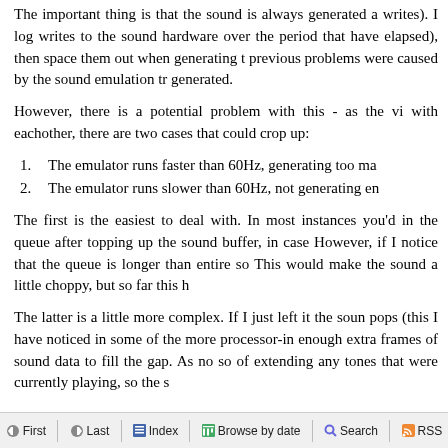The important thing is that the sound is always generated a writes). I log writes to the sound hardware over the period that have elapsed), then space them out when generating t previous problems were caused by the sound emulation tr generated.
However, there is a potential problem with this - as the vi with eachother, there are two cases that could crop up:
1. The emulator runs faster than 60Hz, generating too ma
2. The emulator runs slower than 60Hz, not generating en
The first is the easiest to deal with. In most instances you'd in the queue after topping up the sound buffer, in case However, if I notice that the queue is longer than entire so This would make the sound a little choppy, but so far this h
The latter is a little more complex. If I just left it the soun pops (this I have noticed in some of the more processor-in enough extra frames of sound data to fill the gap. As no so of extending any tones that were currently playing, so the s
First  Last  Index  Browse by date  Search  RSS